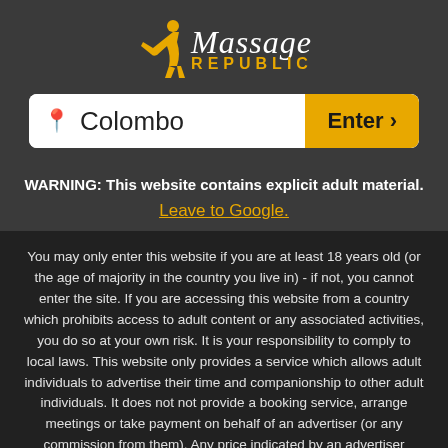[Figure (logo): Massage Republic logo with golden silhouette figure and text]
Colombo   Enter >
WARNING: This website contains explicit adult material.
Leave to Google.
You may only enter this website if you are at least 18 years old (or the age of majority in the country you live in) - if not, you cannot enter the site. If you are accessing this website from a country which prohibits access to adult content or any associated activities, you do so at your own risk. It is your responsibility to comply to local laws. This website only provides a service which allows adult individuals to advertise their time and companionship to other adult individuals. It does not not provide a booking service, arrange meetings or take payment on behalf of an advertiser (or any commission from them). Any price indicated by an advertiser relates to time only and nothing else. Any services offered, or inferred - in addition to time - are the choice of consenting adults and a private matter to be agreed